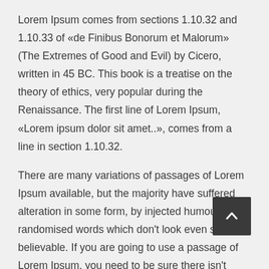Lorem Ipsum comes from sections 1.10.32 and 1.10.33 of «de Finibus Bonorum et Malorum» (The Extremes of Good and Evil) by Cicero, written in 45 BC. This book is a treatise on the theory of ethics, very popular during the Renaissance. The first line of Lorem Ipsum, «Lorem ipsum dolor sit amet..», comes from a line in section 1.10.32.
There are many variations of passages of Lorem Ipsum available, but the majority have suffered alteration in some form, by injected humour, or randomised words which don't look even slightly believable. If you are going to use a passage of Lorem Ipsum, you need to be sure there isn't anything embarrassing hidden in the middle of text. All the Lorem Ipsum generators on the Internet tend to repeat predefined chunks as necessary, making this the first true generator on the Internet. It uses a dictionary of over 200 Latin words, combined with...